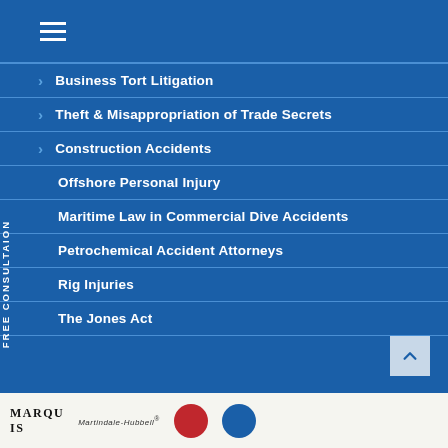Navigation menu header
Business Tort Litigation
Theft & Misappropriation of Trade Secrets
Construction Accidents
Offshore Personal Injury
Maritime Law in Commercial Dive Accidents
Petrochemical Accident Attorneys
Rig Injuries
The Jones Act
MARQUIS | Martindale-Hubbell